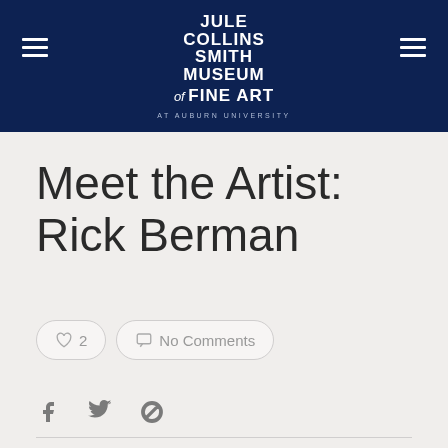JULE COLLINS SMITH MUSEUM of FINE ART AT AUBURN UNIVERSITY
Meet the Artist: Rick Berman
♡ 2
No Comments